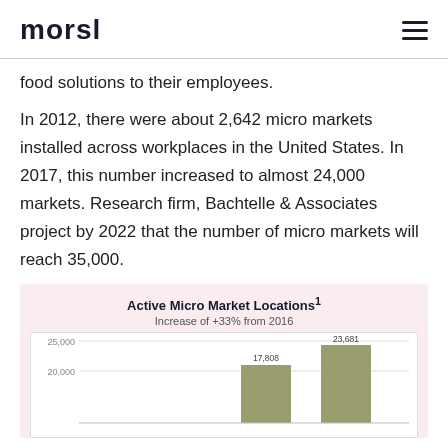morsl
food solutions to their employees.
In 2012, there were about 2,642 micro markets installed across workplaces in the United States. In 2017, this number increased to almost 24,000 markets. Research firm, Bachtelle & Associates project by 2022 that the number of micro markets will reach 35,000.
[Figure (bar-chart): Active Micro Market Locations¹]